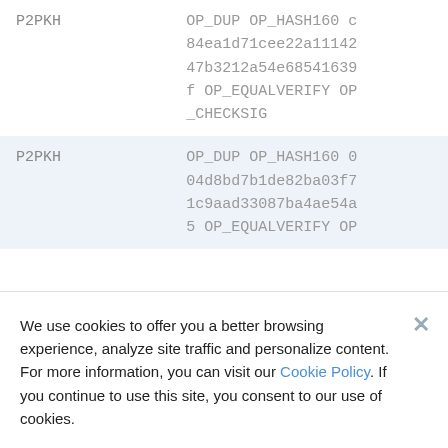| Type | Script |
| --- | --- |
| P2PKH | OP_DUP OP_HASH160 c84ea1d71cee22a1114247b3212a54e68541639f OP_EQUALVERIFY OP_CHECKSIG |
| P2PKH | OP_DUP OP_HASH160 004d8bd7b1de82ba03f71c9aad33087ba4ae54a5 OP_EQUALVERIFY OP |
We use cookies to offer you a better browsing experience, analyze site traffic and personalize content. For more information, you can visit our Cookie Policy. If you continue to use this site, you consent to our use of cookies.